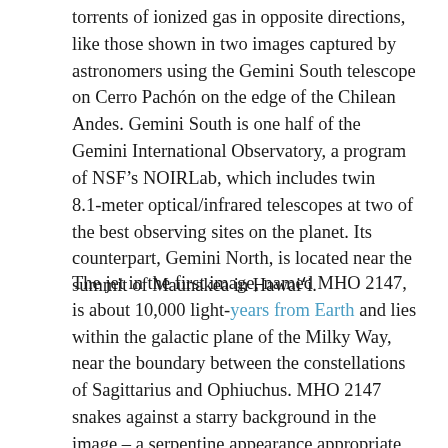torrents of ionized gas in opposite directions, like those shown in two images captured by astronomers using the Gemini South telescope on Cerro Pachón on the edge of the Chilean Andes. Gemini South is one half of the Gemini International Observatory, a program of NSF's NOIRLab, which includes twin 8.1-meter optical/infrared telescopes at two of the best observing sites on the planet. Its counterpart, Gemini North, is located near the summit of Maunakea in Hawai'i.
The jet in the first image, named MHO 2147, is about 10,000 light-years from Earth and lies within the galactic plane of the Milky Way, near the boundary between the constellations of Sagittarius and Ophiuchus. MHO 2147 snakes against a starry background in the image – a serpentine appearance appropriate for an object close to Ophiuchus. Like many of the modern 88 astronomical constellations, Ophiuchus has mythological roots – in ancient Greece it represented a variety of gods and heroes